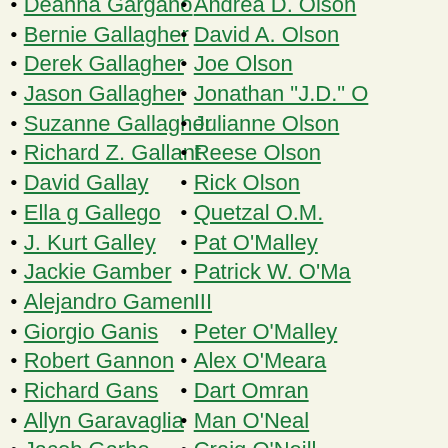Deanna Gargano
Bernie Gallagher
Derek Gallagher
Jason Gallagher
Suzanne Gallagher
Richard Z. Gallant
David Gallay
Ella g Gallego
J. Kurt Galley
Jackie Gamber
Alejandro Gamen
Giorgio Ganis
Robert Gannon
Richard Gans
Allyn Garavaglia
Jacob Garbe
Mary Garber
Bobby P. Garcia
Connie Garcia
Hernan Garcia
Miriam Garcia
Rachel Garcia
Zachary J. Garcia
Amber J. Gardner
Brian S. Gardner
Grant Gardner
Jacob T. Gardner
Andrea D. Olson
David A. Olson
Joe Olson
Jonathan "J.D." O...
Julianne Olson
Reese Olson
Rick Olson
Quetzal O.M.
Pat O'Malley
Patrick W. O'Malley III
Peter O'Malley
Alex O'Meara
Dart Omran
Man O'Neal
Craig O'Neill